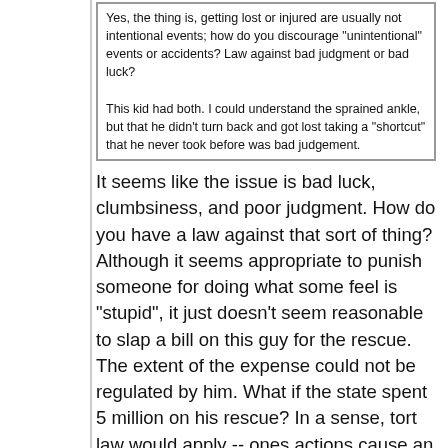Yes, the thing is, getting lost or injured are usually not intentional events; how do you discourage "unintentional" events or accidents? Law against bad judgment or bad luck?
This kid had both. I could understand the sprained ankle, but that he didn't turn back and got lost taking a "shortcut" that he never took before was bad judgement.
It seems like the issue is bad luck, clumbsiness, and poor judgment. How do you have a law against that sort of thing? Although it seems appropriate to punish someone for doing what some feel is "stupid", it just doesn't seem reasonable to slap a bill on this guy for the rescue. The extent of the expense could not be regulated by him. What if the state spent 5 million on his rescue? In a sense, tort law would apply -- ones actions cause an injury another. But this situation the guy was prevented from hurting himself further. Why not just eliminate all rescues for bad judgment, stupidity or recklessness?